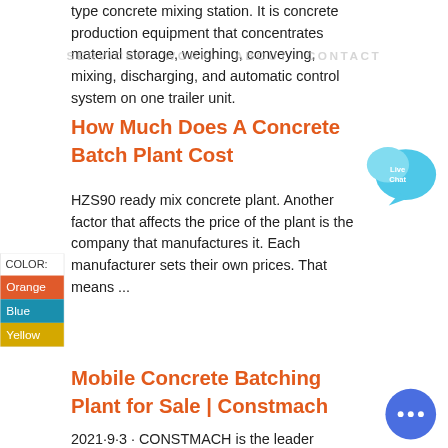type concrete mixing station. It is concrete production equipment that concentrates material storage, weighing, conveying, mixing, discharging, and automatic control system on one trailer unit.
SERVICES  WORK   ABOUT  CONTACT
How Much Does A Concrete Batch Plant Cost
HZS90 ready mix concrete plant. Another factor that affects the price of the plant is the company that manufactures it. Each manufacturer sets their own prices. That means ...
[Figure (other): Live Chat speech bubble icon in cyan/blue]
[Figure (other): Color sidebar showing COLOR: label with Orange, Blue, Yellow swatches]
[Figure (other): Round blue chat button with ellipsis dots]
Mobile Concrete Batching Plant for Sale | Constmach
2021·9·3 · CONSTMACH is the leader